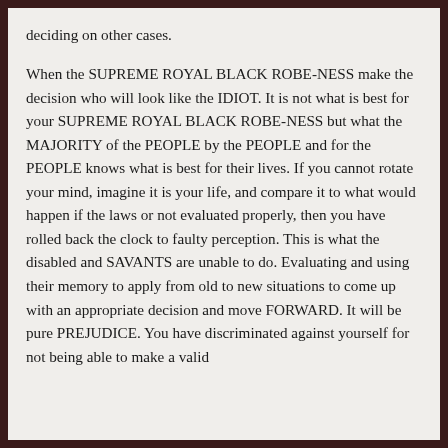deciding on other cases. When the SUPREME ROYAL BLACK ROBE-NESS make the decision who will look like the IDIOT. It is not what is best for your SUPREME ROYAL BLACK ROBE-NESS but what the MAJORITY of the PEOPLE by the PEOPLE and for the PEOPLE knows what is best for their lives. If you cannot rotate your mind, imagine it is your life, and compare it to what would happen if the laws or not evaluated properly, then you have rolled back the clock to faulty perception. This is what the disabled and SAVANTS are unable to do. Evaluating and using their memory to apply from old to new situations to come up with an appropriate decision and move FORWARD. It will be pure PREJUDICE. You have discriminated against yourself for not being able to make a valid